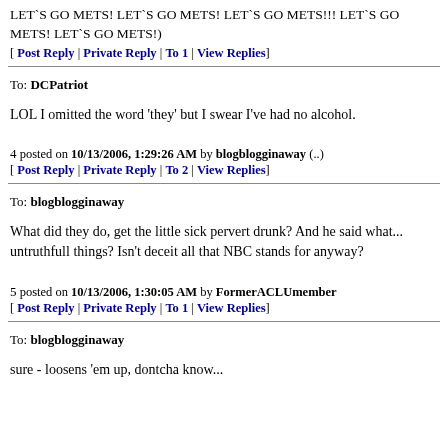LET`S GO METS! LET`S GO METS! LET`S GO METS!!! LET`S GO METS! LET`S GO METS!)
[ Post Reply | Private Reply | To 1 | View Replies]
To: DCPatriot
LOL I omitted the word 'they' but I swear I've had no alcohol.
4 posted on 10/13/2006, 1:29:26 AM by blogblogginaway (..)
[ Post Reply | Private Reply | To 2 | View Replies]
To: blogblogginaway
What did they do, get the little sick pervert drunk? And he said what... untruthfull things? Isn't deceit all that NBC stands for anyway?
5 posted on 10/13/2006, 1:30:05 AM by FormerACLUmember
[ Post Reply | Private Reply | To 1 | View Replies]
To: blogblogginaway
sure - loosens 'em up, dontcha know...